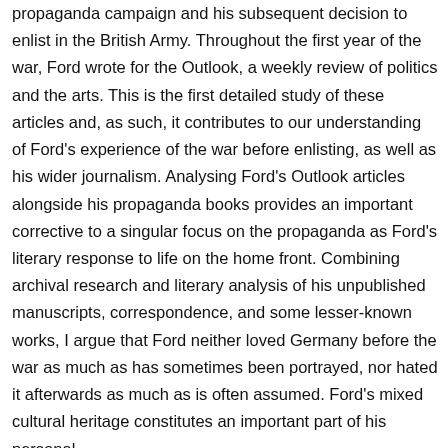propaganda campaign and his subsequent decision to enlist in the British Army. Throughout the first year of the war, Ford wrote for the Outlook, a weekly review of politics and the arts. This is the first detailed study of these articles and, as such, it contributes to our understanding of Ford's experience of the war before enlisting, as well as his wider journalism. Analysing Ford's Outlook articles alongside his propaganda books provides an important corrective to a singular focus on the propaganda as Ford's literary response to life on the home front. Combining archival research and literary analysis of his unpublished manuscripts, correspondence, and some lesser-known works, I argue that Ford neither loved Germany before the war as much as has sometimes been portrayed, nor hated it afterwards as much as is often assumed. Ford's mixed cultural heritage constitutes an important part of his personal